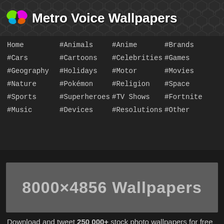Metro Voice Wallpapers
Home
#Animals
#Anime
#Brands
#Cars
#Cartoons
#Celebrities
#Games
#Geography
#Holidays
#Motor
#Movies
#Nature
#Pokémon
#Religion
#Space
#Sports
#Superheroes
#TV Shows
#Fortnite
#Music
#Devices
#Resolutions
#Other
8000×4856 Wallpapers
Download and tweet 250 000+ stock photo wallpapers for free in 8000×4856 category. ✓ Thousands of new images daily ✓ Completely free ✓ Quality images from MetroVoice